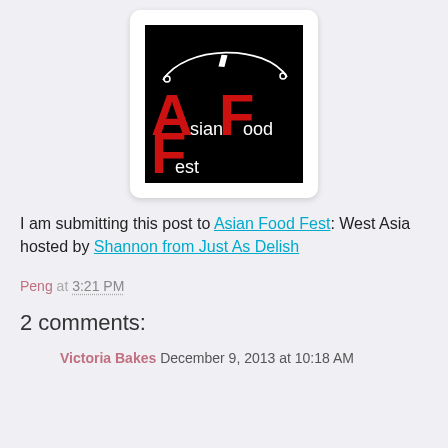[Figure (logo): Asian Food Fest logo: black square background with large red letters A, F, F and white lowercase text 'sian', 'ood', 'est' forming 'Asian Food Fest'. A white curved line with a pendant (chopstick/ladle) arcs across the top.]
I am submitting this post to Asian Food Fest: West Asia hosted by Shannon from Just As Delish
Peng at 3:21 PM
2 comments:
Victoria Bakes December 9, 2013 at 10:18 AM